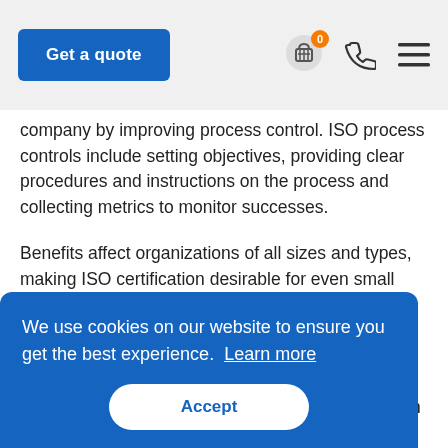Get a quote
company by improving process control. ISO process controls include setting objectives, providing clear procedures and instructions on the process and collecting metrics to monitor successes.
Benefits affect organizations of all sizes and types, making ISO certification desirable for even small companies with few employees. However, it is important to select ISO standards that fit your business.
We use cookies on our website to ensure you get the best experience. Learn more
Accept
ers turn to standardization as a way to find common ground